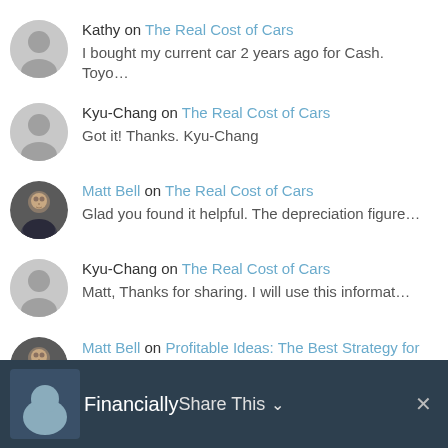Kathy on The Real Cost of Cars
I bought my current car 2 years ago for Cash. Toyo…
Kyu-Chang on The Real Cost of Cars
Got it! Thanks. Kyu-Chang
Matt Bell on The Real Cost of Cars
Glad you found it helpful. The depreciation figure…
Kyu-Chang on The Real Cost of Cars
Matt, Thanks for sharing. I will use this informat…
Matt Bell on Profitable Ideas: The Best Strategy for Two-Earner Households, Inside the Modern Marketer's Playbook, and More
I'm not familiar with them, Kevin. I'll take a clo…
Financially Share This ×